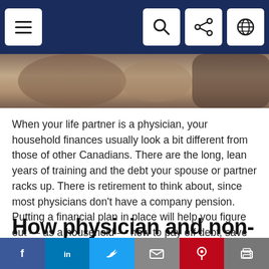Navigation bar with menu, search, share, and globe icons
[Figure (photo): Partial photo of a person with a cup at a table, cropped at top of page]
When your life partner is a physician, your household finances usually look a bit different from those of other Canadians. There are the long, lean years of training and the debt your spouse or partner racks up. There is retirement to think about, since most physicians don't have a company pension. Putting a financial plan in place will help you figure out — as a household — how to pay off debt, save for retirement and achieve your other family goals. And planning together as a household may mean you achieve your goals faster.
How physician and non-
f  in  [twitter]  [mail]  [pinterest]  [print]